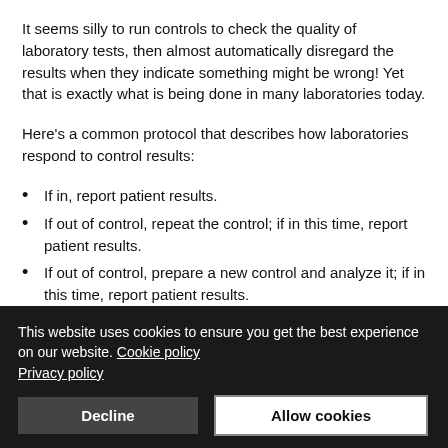It seems silly to run controls to check the quality of laboratory tests, then almost automatically disregard the results when they indicate something might be wrong! Yet that is exactly what is being done in many laboratories today.
Here's a common protocol that describes how laboratories respond to control results:
If in, report patient results.
If out of control, repeat the control; if in this time, report patient results.
If out of control, prepare a new control and analyze it; if in this time, report patient results.
If out of control, repeat the new control; if in, report patient results.
This website uses cookies to ensure you get the best experience on our website. Cookie policy Privacy policy